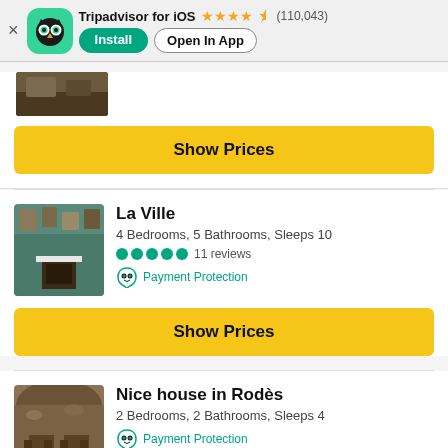Tripadvisor for iOS  ★★★★½ (110,043) — Install | Open In App
[Figure (photo): Partial photo of a property listing at the top]
Show Prices
La Ville
4 Bedrooms, 5 Bathrooms, Sleeps 10
●●●●● 11 reviews
Payment Protection
Show Prices
Nice house in Rodès
2 Bedrooms, 2 Bathrooms, Sleeps 4
Payment Protection